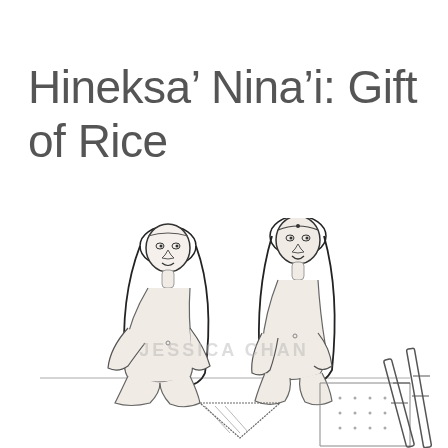Hineksa’ Nina’i: Gift of Rice
[Figure (illustration): Pen-and-ink illustration of two seated women with long dark hair and traditional adornments, facing each other. Between and around them are triangular shapes suggesting woven mats or baskets, and bamboo stalks on the right. A watermark reading 'JESSICA CHAN' is visible in the center.]